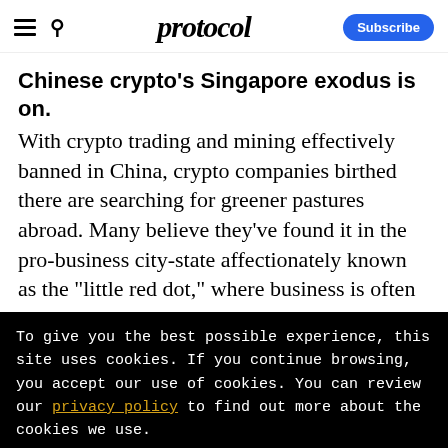protocol — Subscribe
Chinese crypto's Singapore exodus is on.
With crypto trading and mining effectively banned in China, crypto companies birthed there are searching for greener pastures abroad. Many believe they've found it in the pro-business city-state affectionately known as the "little red dot," where business is often
To give you the best possible experience, this site uses cookies. If you continue browsing, you accept our use of cookies. You can review our privacy policy to find out more about the cookies we use.
Accept